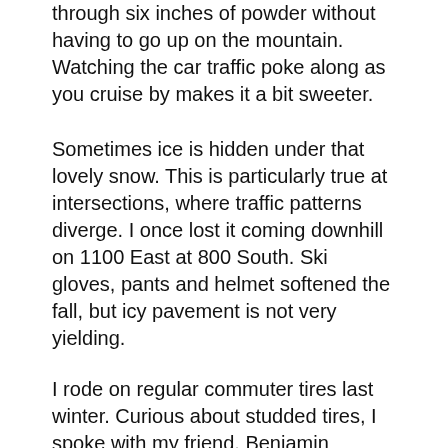through six inches of powder without having to go up on the mountain. Watching the car traffic poke along as you cruise by makes it a bit sweeter.
Sometimes ice is hidden under that lovely snow. This is particularly true at intersections, where traffic patterns diverge. I once lost it coming downhill on 1100 East at 800 South. Ski gloves, pants and helmet softened the fall, but icy pavement is not very yielding.
I rode on regular commuter tires last winter. Curious about studded tires, I spoke with my friend, Benjamin Sondelski, about his winter tires. “I run Continental Spike Claw 120s in the wintertime on my 26-inch MTB commuter,” he told me. “Studs are on the outside tread blocks only, so none contact the road surface while riding straight. This provides a quieter ride and —in most conditions —better